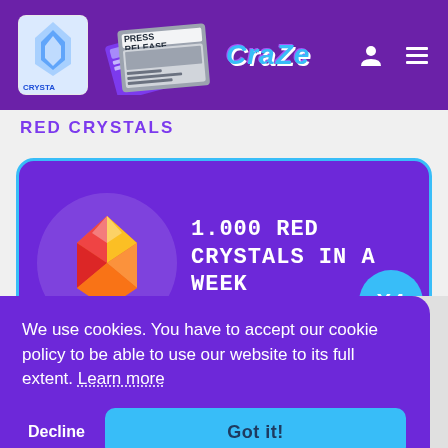PRESS RELEASE CRAZE
RED CRYSTALS
[Figure (infographic): Purple card with red crystal gem icon and text: 1.000 RED CRYSTALS IN A WEEK, with a cyan X4 badge]
We use cookies. You have to accept our cookie policy to be able to use our website to its full extent. Learn more
Decline
Got it!